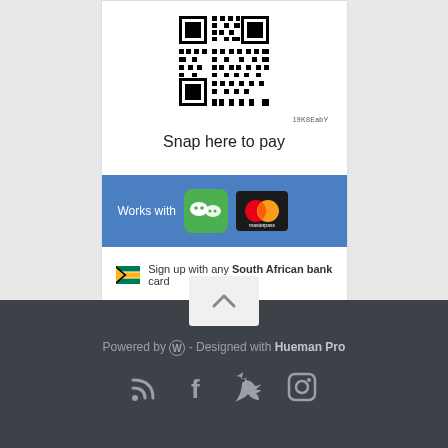[Figure (other): QR code image for payment]
19K8EabY
Snap here to pay
[Figure (logo): Works with WeChat and Masterpass logos on blue background]
Sign up with any South African bank card
[Figure (illustration): Scroll to top button with chevron up arrow]
Powered by  - Designed with Hueman Pro
[Figure (other): Social media icons: RSS, Facebook, Twitter, Instagram]